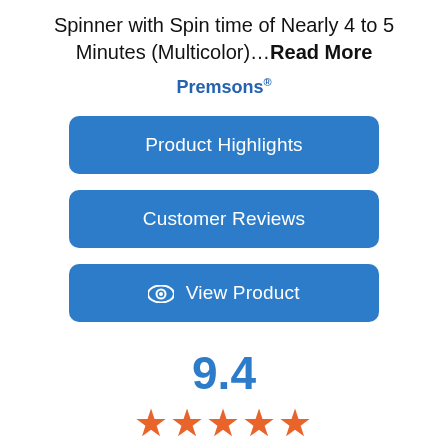Spinner with Spin time of Nearly 4 to 5 Minutes (Multicolor)…Read More
Premsons®
Product Highlights
Customer Reviews
👁 View Product
9.4
[Figure (other): Five orange star rating icons]
Buy it on Amazon